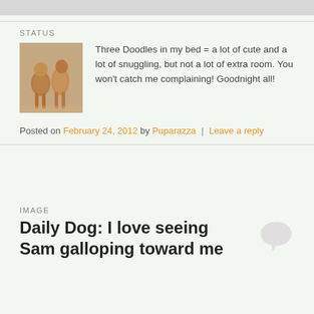[Figure (photo): Top gray bar / partial image cropped at top of page]
STATUS
[Figure (photo): Two golden doodle dogs walking toward camera]
Three Doodles in my bed = a lot of cute and a lot of snuggling, but not a lot of extra room. You won't catch me complaining! Goodnight all!
Posted on February 24, 2012 by Puparazza | Leave a reply
IMAGE
Daily Dog: I love seeing Sam galloping toward me
[Figure (photo): Dog galloping in a wooded outdoor setting with branches and trees]